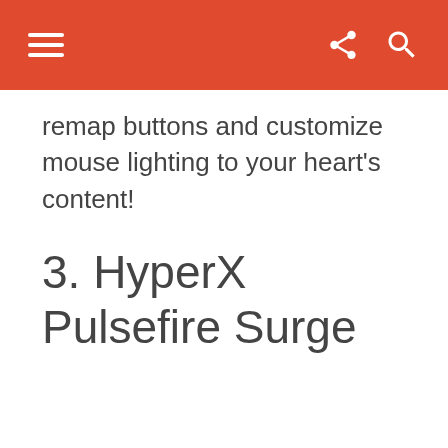remap buttons and customize mouse lighting to your heart's content!
3. HyperX Pulsefire Surge